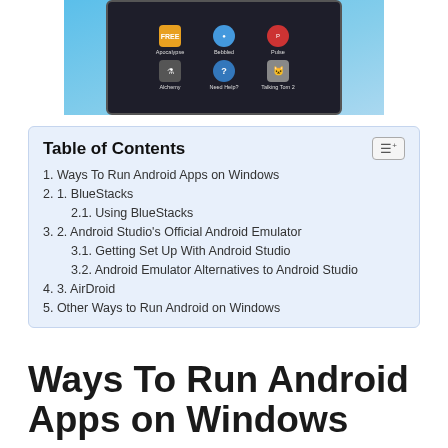[Figure (screenshot): Screenshot of an Android device showing app icons including Apocalypse, Bebbled, Pulse, Alchemy, Need Help?, and Talking Tom 2, displayed on a Windows-style desktop background.]
| 1. Ways To Run Android Apps on Windows |
| 2. 1. BlueStacks |
| 2.1. Using BlueStacks |
| 3. 2. Android Studio’s Official Android Emulator |
| 3.1. Getting Set Up With Android Studio |
| 3.2. Android Emulator Alternatives to Android Studio |
| 4. 3. AirDroid |
| 5. Other Ways to Run Android on Windows |
Ways To Run Android Apps on Windows